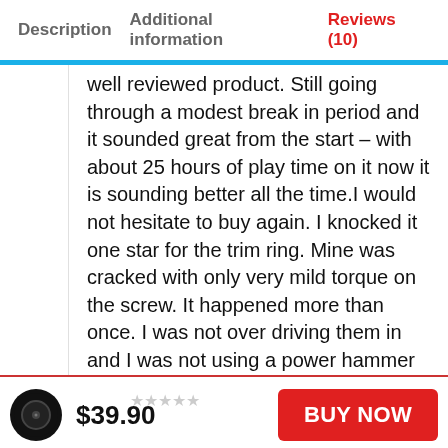Description   Additional information   Reviews (10)
well reviewed product. Still going through a modest break in period and it sounded great from the start – with about 25 hours of play time on it now it is sounding better all the time.I would not hesitate to buy again. I knocked it one star for the trim ring. Mine was cracked with only very mild torque on the screw. It happened more than once. I was not over driving them in and I was not using a power hammer either. I just like them snug for a sealed box and the trim ring could be a bit more robust.
$39.90
BUY NOW